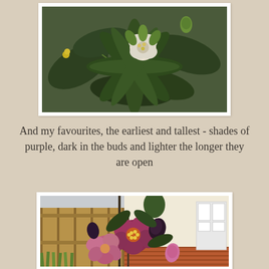[Figure (photo): Close-up photograph of hellebore plant with white flower and dark green leaves in a garden setting]
And my favourites, the earliest and tallest - shades of purple, dark in the buds and lighter the longer they are open
[Figure (photo): Photograph of purple/pink hellebore flowers in a garden with a wooden fence and house in the background]